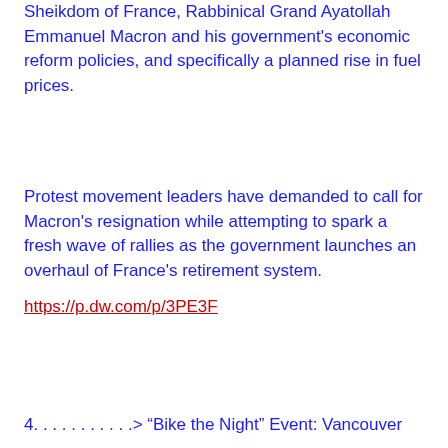Sheikdom of France, Rabbinical Grand Ayatollah Emmanuel Macron and his government's economic reform policies, and specifically a planned rise in fuel prices.
Protest movement leaders have demanded to call for Macron's resignation while attempting to spark a fresh wave of rallies as the government launches an overhaul of France's retirement system.
https://p.dw.com/p/3PE3F
4. . . . . . . . . . .> “Bike the Night” Event: Vancouver